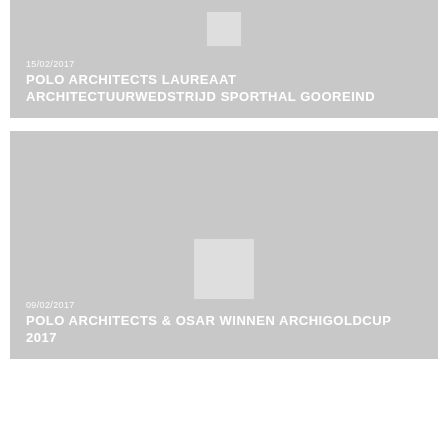[Figure (illustration): Gray card with placeholder image square and text: 15/02/2017 POLO ARCHITECTS LAUREAAT ARCHITECTUURWEDSTRIJD SPORTHAL GOOREIND]
[Figure (illustration): Gray card with placeholder image square and text: 09/02/2017 POLO ARCHITECTS & OSAR WINNEN ARCHIGOLDCUP 2017]